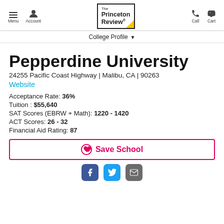Menu Account | The Princeton Review | Call Cart
College Profile
Pepperdine University
24255 Pacific Coast Highway | Malibu, CA | 90263
Website
Acceptance Rate: 36%
Tuition : $55,640
SAT Scores (EBRW + Math): 1220 - 1420
ACT Scores: 26 - 32
Financial Aid Rating: 87
Save School